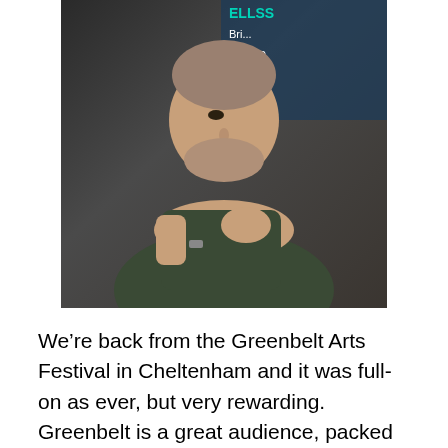[Figure (photo): A man seated, looking to his left, wearing a dark shirt, with a banner in the background showing teal/white text.]
We’re back from the Greenbelt Arts Festival in Cheltenham and it was full-on as ever, but very rewarding. Greenbelt is a great audience, packed with all kinds of people who really care about political issues, social change and campaigning and who want make big change happen – just like we do!
We screened four films, each followed by a live panel debate or Q&A! In case you missed any of them we’ve written a little reminder below. We’d also suggest…